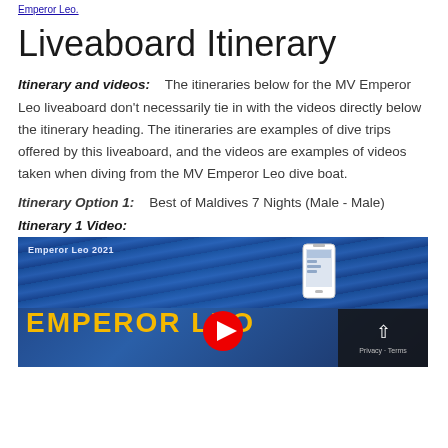Emperor Leo.
Liveaboard Itinerary
Itinerary and videos: The itineraries below for the MV Emperor Leo liveaboard don't necessarily tie in with the videos directly below the itinerary heading. The itineraries are examples of dive trips offered by this liveaboard, and the videos are examples of videos taken when diving from the MV Emperor Leo dive boat.
Itinerary Option 1: Best of Maldives 7 Nights (Male - Male)
Itinerary 1 Video:
[Figure (screenshot): Video thumbnail showing 'Emperor Leo 2021' text with ocean background, phone graphic, and 'EMPEROR LEO' text in gold with YouTube play button overlay. Privacy and Terms overlay in bottom right corner.]